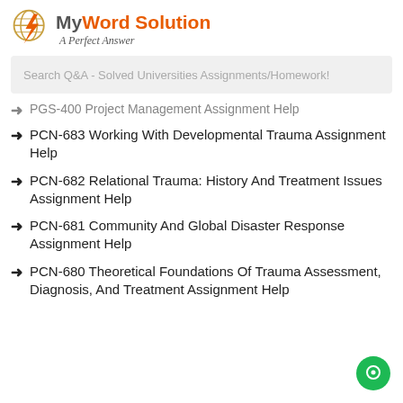[Figure (logo): MyWord Solution logo with orange bolt icon and tagline 'A Perfect Answer']
Search Q&A - Solved Universities Assignments/Homework!
PGS-400 Project Management Assignment Help
PCN-683 Working With Developmental Trauma Assignment Help
PCN-682 Relational Trauma: History And Treatment Issues Assignment Help
PCN-681 Community And Global Disaster Response Assignment Help
PCN-680 Theoretical Foundations Of Trauma Assessment, Diagnosis, And Treatment Assignment Help